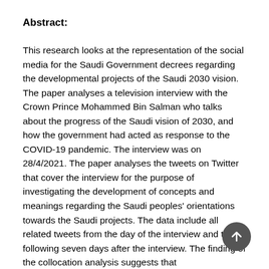Abstract:
This research looks at the representation of the social media for the Saudi Government decrees regarding the developmental projects of the Saudi 2030 vision. The paper analyses a television interview with the Crown Prince Mohammed Bin Salman who talks about the progress of the Saudi vision of 2030, and how the government had acted as response to the COVID-19 pandemic. The interview was on 28/4/2021. The paper analyses the tweets on Twitter that cover the interview for the purpose of investigating the development of concepts and meanings regarding the Saudi peoples' orientations towards the Saudi projects. The data include all related tweets from the day of the interview and the following seven days after the interview. The finding of the collocation analysis suggests that